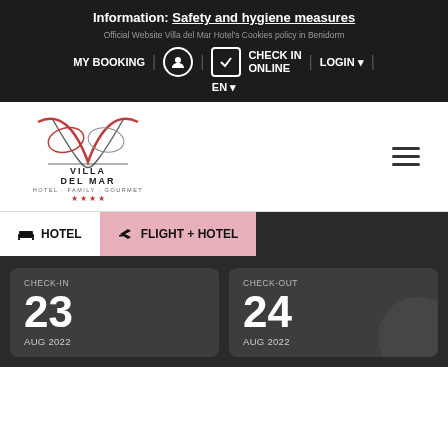Information: Safety and hygiene measures
Official Website Villa del Mar Hotel's Cookies policy in Benidorm
MY BOOKING | CHECK IN ONLINE | LOGIN | EN
[Figure (logo): Villa del Mar Hotel Family Gourmet logo with stylized script lettering and four stars]
HOTEL | FLIGHT + HOTEL
CHECK-IN 23 AUG 2022
CHECK-OUT 24 AUG 2022